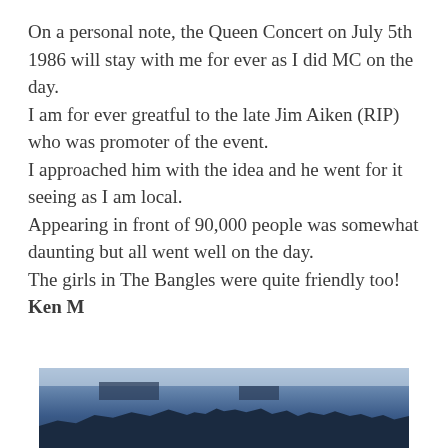On a personal note, the Queen Concert on July 5th 1986 will stay with me for ever as I did MC on the day.
I am for ever greatful to the late Jim Aiken (RIP) who was promoter of the event.
I approached him with the idea and he went for it seeing as I am local.
Appearing in front of 90,000 people was somewhat daunting but all went well on the day.
The girls in The Bangles were quite friendly too!
Ken M
[Figure (photo): Partially visible photograph at the bottom of the page showing a crowd scene or cityscape with silhouetted figures, tinted blue/dark]